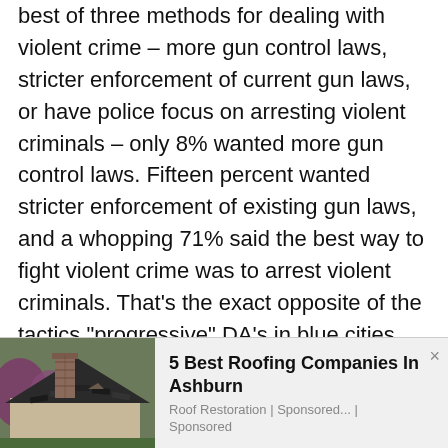best of three methods for dealing with violent crime – more gun control laws, stricter enforcement of current gun laws, or have police focus on arresting violent criminals – only 8% wanted more gun control laws. Fifteen percent wanted stricter enforcement of existing gun laws, and a whopping 71% said the best way to fight violent crime was to arrest violent criminals. That's the exact opposite of the tactics "progressive" DA's in blue cities are using.
[Figure (photo): Advertisement banner showing a damaged roof with missing shingles and a chimney, advertising '5 Best Roofing Companies In Ashburn' by Roof Restoration, marked as Sponsored.]